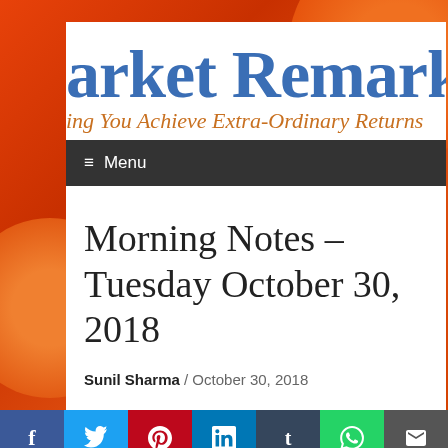arket Remarks
ing You Achieve Extra-Ordinary Returns
Menu
Morning Notes – Tuesday October 30, 2018
Sunil Sharma / October 30, 2018